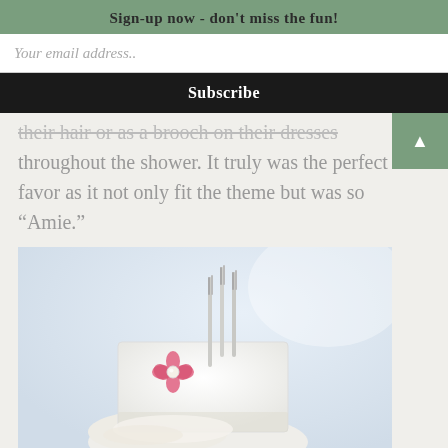Sign-up now - don't miss the fun!
Your email address..
Subscribe
their hair or as a brooch on their dresses throughout the shower. It truly was the perfect favor as it not only fit the theme but was so “Amie.”
[Figure (photo): A white napkin folded neatly holding silverware (forks), secured with a white band decorated with a small pink flower with a pearl center, placed on a light blue/white surface.]
[Figure (photo): Partial view of another item at the bottom of the page, appears green/yellow.]